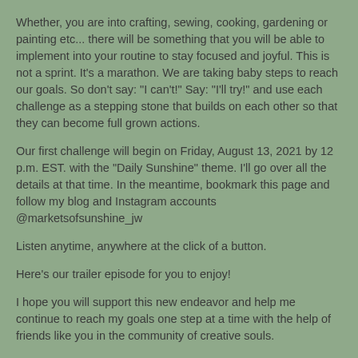Whether, you are into crafting, sewing, cooking, gardening or painting etc... there will be something that you will be able to implement into your routine to stay focused and joyful.  This is not a sprint.  It's a marathon.  We are taking baby steps to reach our goals.  So don't say: "I can't!"  Say: "I'll try!"  and use each challenge as a stepping stone that builds on each other so that they can become full grown actions.
Our first challenge will begin on Friday, August 13, 2021 by 12 p.m. EST. with the "Daily Sunshine" theme.  I'll go over all the details at that time.  In the meantime, bookmark this page and follow my blog and Instagram accounts @marketsofsunshine_jw
Listen anytime, anywhere at the click of a button.
Here's our trailer episode for you to enjoy!
I hope you will support this new endeavor and help me continue to reach my goals one step at a time with the help of friends like you in the community of creative souls.